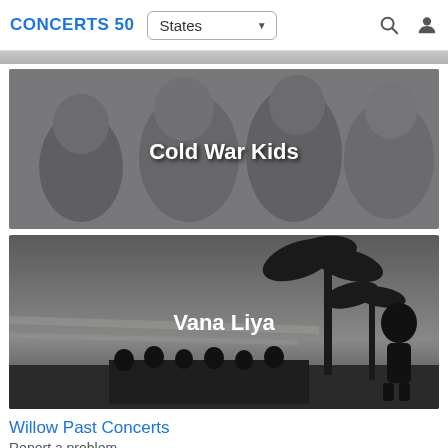CONCERTS 50  States
[Figure (photo): Grayscale photo of the band Cold War Kids — several young men looking at the camera, with 'Cold War Kids' text overlay in white]
[Figure (photo): Grayscale photo for Vana Liya — silhouettes of people and palm trees against a twilight sky, with 'Vana Liya' text overlay in white]
Willow Past Concerts
Report a problem